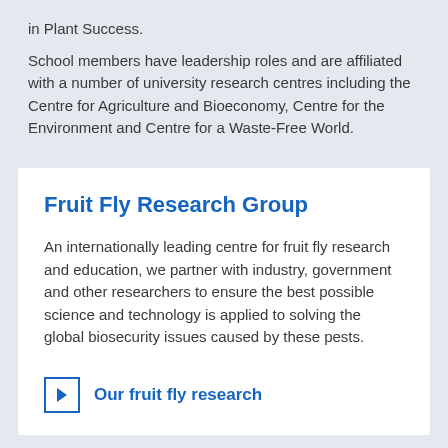in Plant Success.
School members have leadership roles and are affiliated with a number of university research centres including the Centre for Agriculture and Bioeconomy, Centre for the Environment and Centre for a Waste-Free World.
Fruit Fly Research Group
An internationally leading centre for fruit fly research and education, we partner with industry, government and other researchers to ensure the best possible science and technology is applied to solving the global biosecurity issues caused by these pests.
Our fruit fly research